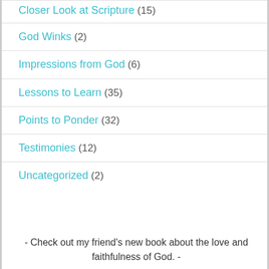Closer Look at Scripture (15)
God Winks (2)
Impressions from God (6)
Lessons to Learn (35)
Points to Ponder (32)
Testimonies (12)
Uncategorized (2)
- Check out my friend's new book about the love and faithfulness of God. -